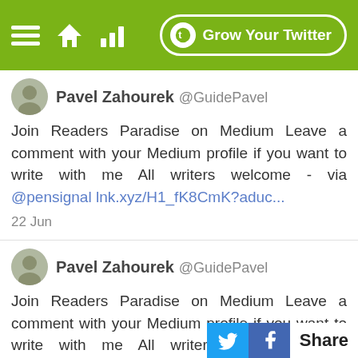[Figure (screenshot): Green navigation bar with hamburger menu, home icon, signal bars icon, and 'Grow Your Twitter' button with logo]
Pavel Zahourek @GuidePavel
Join Readers Paradise on Medium Leave a comment with your Medium profile if you want to write with me All writers welcome - via @pensignal lnk.xyz/H1_fK8CmK?aduc...
22 Jun
Pavel Zahourek @GuidePavel
Join Readers Paradise on Medium Leave a comment with your Medium profile if you want to write with me All writers welcome - via @pensignal lnk.xyz/H1_fK8CmK?aduc...
21 Jun
[Figure (screenshot): Share bar at bottom right with Twitter and Facebook icons and 'Share' text]